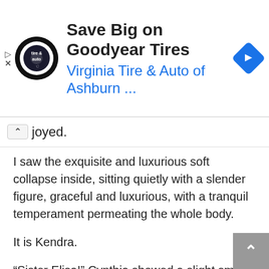[Figure (screenshot): Advertisement banner for Virginia Tire & Auto of Ashburn featuring Goodyear Tires. Shows a tire & auto logo, headline 'Save Big on Goodyear Tires', subtitle 'Virginia Tire & Auto of Ashburn ...', and a blue navigation arrow icon.]
joyed.
I saw the exquisite and luxurious soft collapse inside, sitting quietly with a slender figure, graceful and luxurious, with a tranquil temperament permeating the whole body.
It is Kendra.
“Sister Elisa!” Cynthia showed a slight smile and walked over and said: “Visit late at night, don’t be offended!”